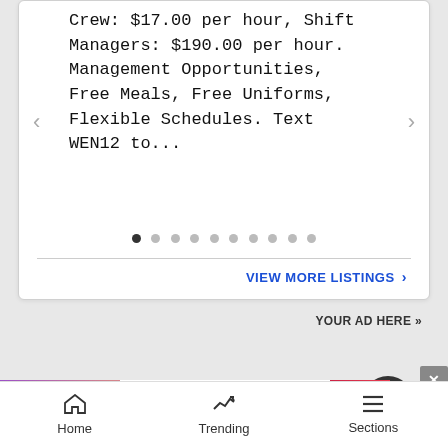Crew: $17.00 per hour, Shift Managers: $190.00 per hour. Management Opportunities, Free Meals, Free Uniforms, Flexible Schedules. Text WEN12 to...
[Figure (other): Carousel dot indicators — 10 dots, first dot active (filled dark), remaining dots light gray]
VIEW MORE LISTINGS ›
YOUR AD HERE »
[Figure (photo): MAC cosmetics advertisement banner showing lipsticks in purple, pink, and red colors with MAC logo and SHOP NOW button]
Home   Trending   Sections